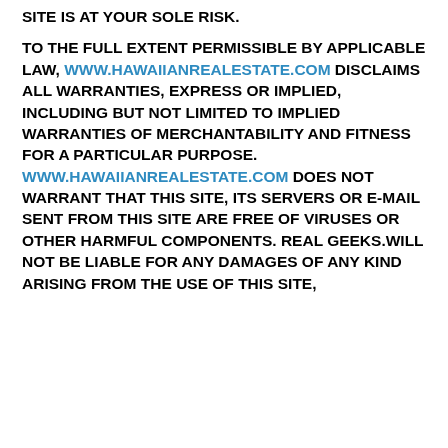SITE IS AT YOUR SOLE RISK.
TO THE FULL EXTENT PERMISSIBLE BY APPLICABLE LAW, www.hawaiianrealestate.com DISCLAIMS ALL WARRANTIES, EXPRESS OR IMPLIED, INCLUDING BUT NOT LIMITED TO IMPLIED WARRANTIES OF MERCHANTABILITY AND FITNESS FOR A PARTICULAR PURPOSE. www.hawaiianrealestate.com DOES NOT WARRANT THAT THIS SITE, ITS SERVERS OR E-MAIL SENT FROM THIS SITE ARE FREE OF VIRUSES OR OTHER HARMFUL COMPONENTS. REAL GEEKS.WILL NOT BE LIABLE FOR ANY DAMAGES OF ANY KIND ARISING FROM THE USE OF THIS SITE,